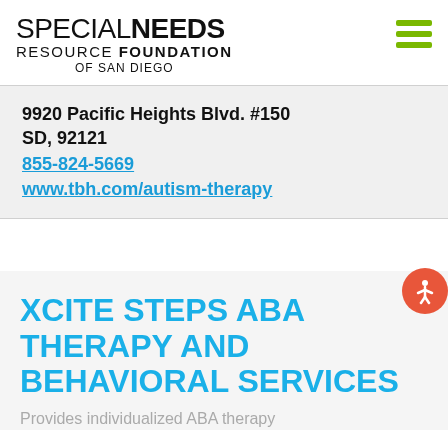[Figure (logo): Special Needs Resource Foundation of San Diego logo — text-based logo with SPECIAL in light weight and NEEDS in bold, RESOURCE FOUNDATION in small caps, OF SAN DIEGO centered below]
9920 Pacific Heights Blvd. #150
SD, 92121
855-824-5669
www.tbh.com/autism-therapy
XCITE STEPS ABA THERAPY AND BEHAVIORAL SERVICES
Provides individualized ABA therapy